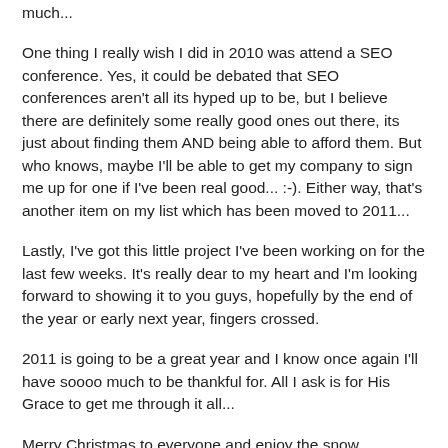much...
One thing I really wish I did in 2010 was attend a SEO conference. Yes, it could be debated that SEO conferences aren't all its hyped up to be, but I believe there are definitely some really good ones out there, its just about finding them AND being able to afford them. But who knows, maybe I'll be able to get my company to sign me up for one if I've been real good... :-). Either way, that's another item on my list which has been moved to 2011...
Lastly, I've got this little project I've been working on for the last few weeks. It's really dear to my heart and I'm looking forward to showing it to you guys, hopefully by the end of the year or early next year, fingers crossed.
2011 is going to be a great year and I know once again I'll have soooo much to be thankful for. All I ask is for His Grace to get me through it all...
Merry Christmas to everyone and enjoy the snow, harmattan, sun or which every you find yourself in and remember the